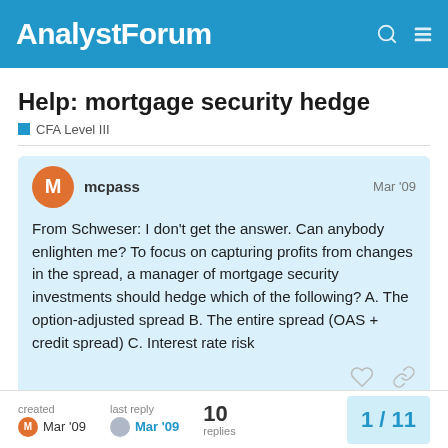AnalystForum
Help: mortgage security hedge
CFA Level III
mcpass — Mar '09
From Schweser: I don't get the answer. Can anybody enlighten me? To focus on capturing profits from changes in the spread, a manager of mortgage security investments should hedge which of the following? A. The option-adjusted spread B. The entire spread (OAS + credit spread) C. Interest rate risk
created Mar '09 | last reply Mar '09 | 10 replies | 1/11